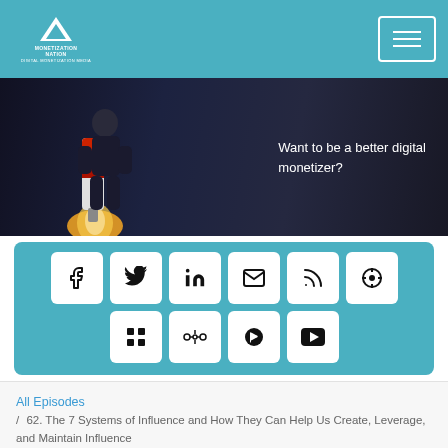Monetization Nation
[Figure (photo): Dark hero banner with a person wearing a jetpack/rocket, flying. Text overlay: 'Want to be a better digital monetizer?']
[Figure (infographic): Teal social media sharing icons: Facebook, Twitter, LinkedIn, Email, RSS, Podcast, Buffer, Google Podcasts, Spotify, YouTube]
All Episodes / 62. The 7 Systems of Influence and How They Can Help Us Create, Leverage, and Maintain Influence
62. The 7 Systems of Influence and How They Can Help Us Create, Leverage, and Maintain Influence